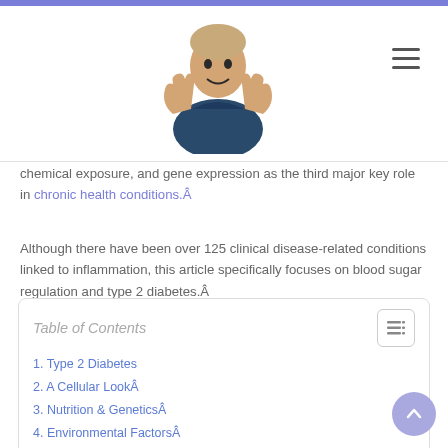[Figure (photo): A man in dark blue scrubs giving two thumbs up, functioning as a website logo/avatar image]
chemical exposure, and gene expression as the third major key role in chronic health conditions.À
Although there have been over 125 clinical disease-related conditions linked to inflammation, this article specifically focuses on blood sugar regulation and type 2 diabetes.À
Table of Contents
1. Type 2 Diabetes
2. A Cellular LookÀ
3. Nutrition & GeneticsÀ
4. Environmental FactorsÀ
4.0.0.1. Disclaimers